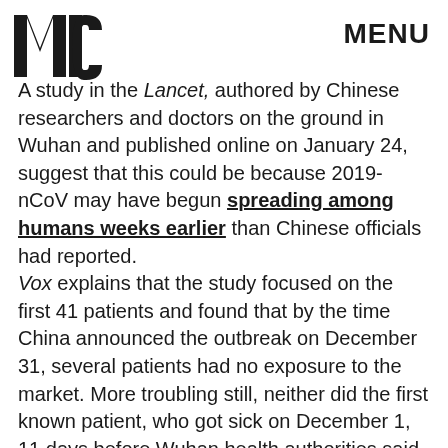MIC   MENU
A study in the Lancet, authored by Chinese researchers and doctors on the ground in Wuhan and published online on January 24, suggest that this could be because 2019-nCoV may have begun spreading among humans weeks earlier than Chinese officials had reported.
Vox explains that the study focused on the first 41 patients and found that by the time China announced the outbreak on December 31, several patients had no exposure to the market. More troubling still, neither did the first known patient, who got sick on December 1, 11 days before Wuhan health authorities said the